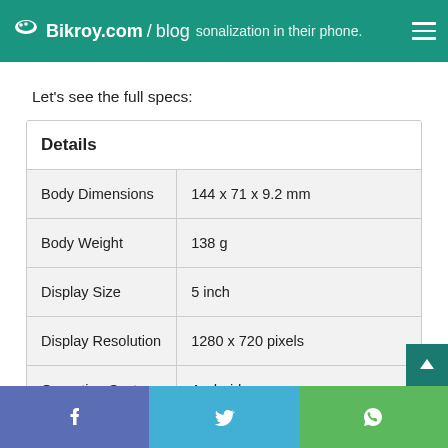Bikroy.com / blog — personalization in their phone.
Let's see the full specs:
| Details |  |
| --- | --- |
| Body Dimensions | 144 x 71 x 9.2 mm |
| Body Weight | 138 g |
| Display Size | 5 inch |
| Display Resolution | 1280 x 720 pixels |
| Operating System | Android |
| OS Version | 8.1.0 Oreo (Go Edition) |
Share buttons: Facebook, Twitter, WhatsApp